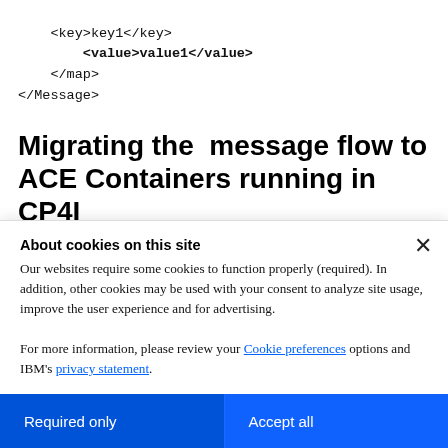<key>key1</key>
        <value>value1</value>
    </map>
</Message>
Migrating the  message flow to ACE Containers running in CP4I
As we mentioned in the Introduction section, The
About cookies on this site
Our websites require some cookies to function properly (required). In addition, other cookies may be used with your consent to analyze site usage, improve the user experience and for advertising.

For more information, please review your Cookie preferences options and IBM's privacy statement.
Required only
Accept all